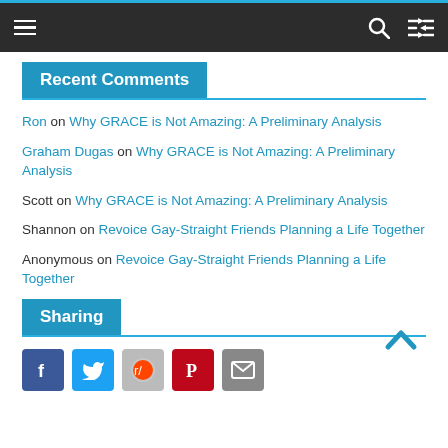Navigation bar with hamburger menu, search icon, and shuffle icon
Recent Comments
Ron on Why GRACE is Not Amazing: A Preliminary Analysis
Graham Dugas on Why GRACE is Not Amazing: A Preliminary Analysis
Scott on Why GRACE is Not Amazing: A Preliminary Analysis
Shannon on Revoice Gay-Straight Friends Planning a Life Together
Anonymous on Revoice Gay-Straight Friends Planning a Life Together
Sharing
[Figure (other): Social sharing icons: Facebook, Twitter, Reddit, Pinterest, Email]